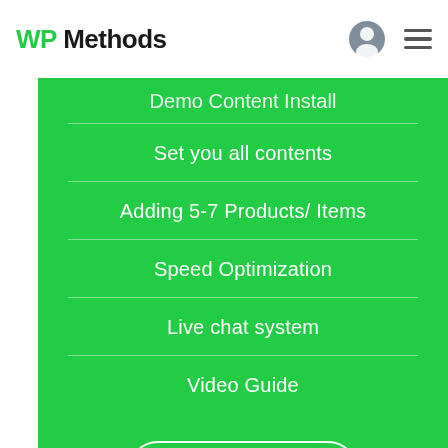WP Methods
Demo Content Install
Set you all contents
Adding 5-7 Products/ Items
Speed Optimization
Live chat system
Video Guide
Get Started